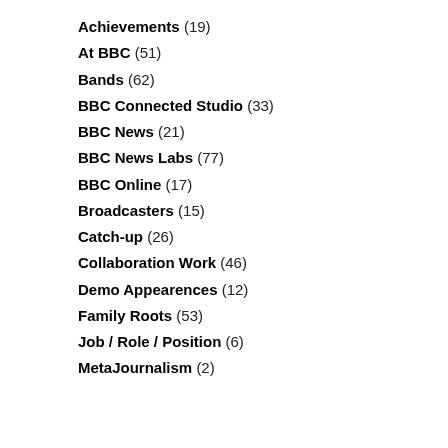Achievements (19)
At BBC (51)
Bands (62)
BBC Connected Studio (33)
BBC News (21)
BBC News Labs (77)
BBC Online (17)
Broadcasters (15)
Catch-up (26)
Collaboration Work (46)
Demo Appearences (12)
Family Roots (53)
Job / Role / Position (6)
MetaJournalism (2)